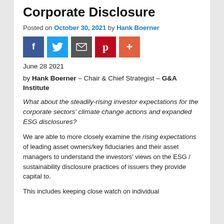Corporate Disclosure
Posted on October 30, 2021 by Hank Boerner
[Figure (other): Social media sharing buttons: Facebook, Twitter, Email, Pinterest, More]
June 28 2021
by Hank Boerner – Chair & Chief Strategist – G&A Institute
What about the steadily-rising investor expectations for the corporate sectors' climate change actions and expanded ESG disclosures?
We are able to more closely examine the rising expectations of leading asset owners/key fiduciaries and their asset managers to understand the investors' views on the ESG / sustainability disclosure practices of issuers they provide capital to.
This includes keeping close watch on individual